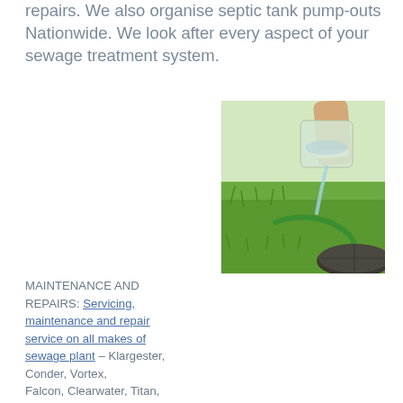repairs. We also organise septic tank pump-outs Nationwide. We look after every aspect of your sewage treatment system.
MAINTENANCE AND REPAIRS: Servicing, maintenance and repair service on all makes of sewage plant – Klargester, Conder, Vortex, Falcon, Clearwater, Titan, Entec, Fitlearpod, Bio-Pure, Biodigester, Valance, PureFlo, GreenFlo, WPL, BioKube, Jewel, Waterwise, Burnham, Diamond, Tricel, Marsh, etc.
[Figure (photo): A gloved hand pouring liquid from a clear plastic bucket/container, with a green hose nearby and a dark manhole cover on grass in the background.]